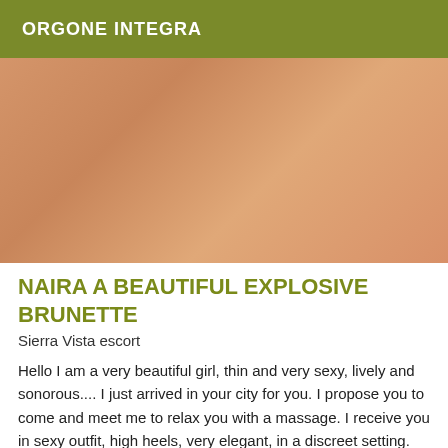ORGONE INTEGRA
[Figure (photo): Photo of a woman in a bikini lying on a bed]
NAIRA A BEAUTIFUL EXPLOSIVE BRUNETTE
Sierra Vista escort
Hello I am a very beautiful girl, thin and very sexy, lively and sonorous.... I just arrived in your city for you. I propose you to come and meet me to relax you with a massage. I receive you in sexy outfit, high heels, very elegant, in a discreet setting. Impeccable hygiene requested, please. I look forward to your calls. Thank